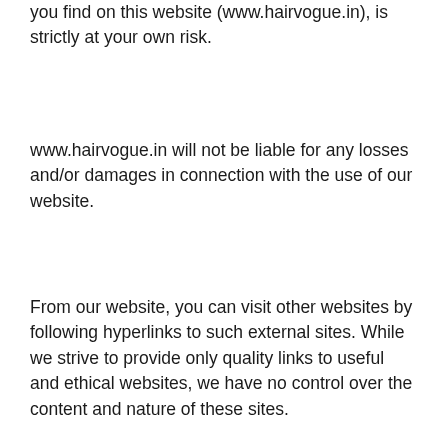you find on this website (www.hairvogue.in), is strictly at your own risk.
www.hairvogue.in will not be liable for any losses and/or damages in connection with the use of our website.
From our website, you can visit other websites by following hyperlinks to such external sites. While we strive to provide only quality links to useful and ethical websites, we have no control over the content and nature of these sites.